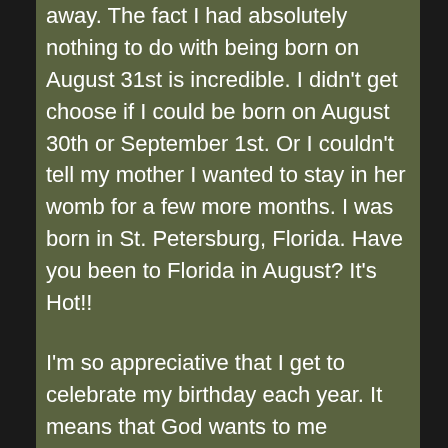away.  The fact I had absolutely nothing to do with being born on August 31st is incredible. I didn't get choose if I could be born on August 30th or September 1st.  Or I couldn't tell my mother I wanted to stay in her womb for a few more months. I was born in St. Petersburg, Florida. Have you been to Florida in August?  It's Hot!!
I'm so appreciative that I get to celebrate my birthday each year.  It means that God wants to me continue to be a part of humanity and enjoy the life he has given me.
However, it seems there are a lot of people in our culture who don't enjoy or care about their birthdays. I have lived in five cities in my adulthood and everyone acts the same way towards their